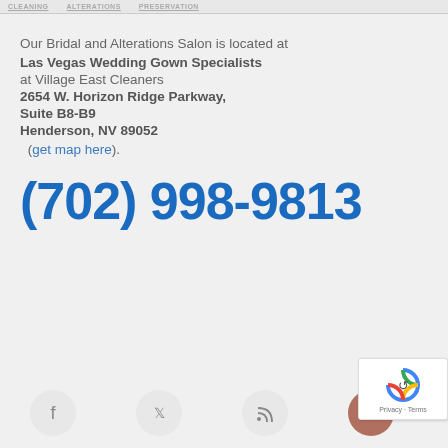CLEANING   ALTERATIONS   PRESERVATION
Our Bridal and Alterations Salon is located at Las Vegas Wedding Gown Specialists at Village East Cleaners 2654 W. Horizon Ridge Parkway, Suite B8-B9 Henderson, NV 89052 (get map here).
(702) 998-9813
[Figure (other): Social media icons row: Facebook, Twitter, RSS feed, Yelp, and a reCAPTCHA badge in the bottom footer area]